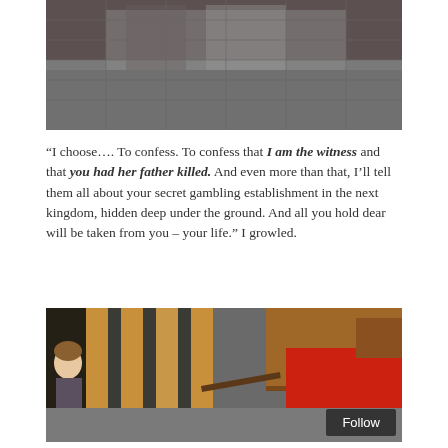[Figure (photo): Top portion of a photo showing a person in a plaid/checkered grey shirt, cropped at torso level]
“I choose…. To confess. To confess that I am the witness and that you had her father killed. And even more than that, I’ll tell them all about your secret gambling establishment in the next kingdom, hidden deep under the ground. And all you hold dear will be taken from you – your life.” I growled.
[Figure (photo): Photo of two dolls: one male doll in a plaid shirt sitting behind wooden chair bars like prison bars, and another doll in a red outfit pointing something at the first doll. Wooden furniture visible in background on grey carpet.]